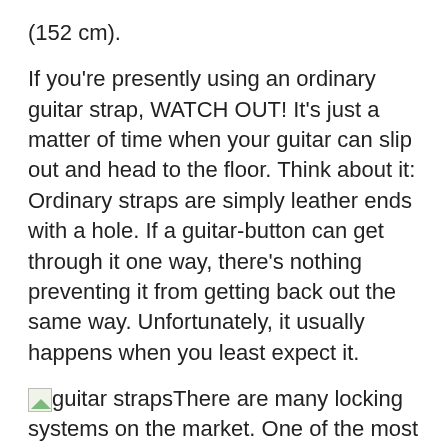(152 cm).
If you're presently using an ordinary guitar strap, WATCH OUT! It's just a matter of time when your guitar can slip out and head to the floor. Think about it: Ordinary straps are simply leather ends with a hole. If a guitar-button can get through it one way, there's nothing preventing it from getting back out the same way. Unfortunately, it usually happens when you least expect it.
[guitar straps image] There are many locking systems on the market. One of the most common requires you to remove your guitar's original hardware, permanently modify your guitar by re-drilling mounting holes, installing the new system, and dedicating a strap and installing the counterparts to go along with it. The finished locking assembly is clunky, noisy, can induce static on recordings...